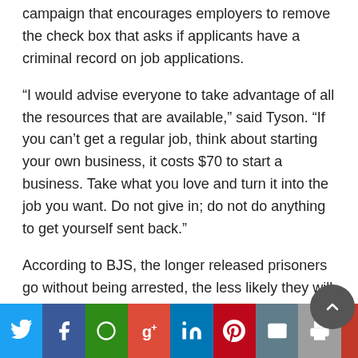campaign that encourages employers to remove the check box that asks if applicants have a criminal record on job applications.
“I would advise everyone to take advantage of all the resources that are available,” said Tyson. “If you can’t get a regular job, think about starting your own business, it costs $70 to start a business. Take what you love and turn it into the job you want. Do not give in; do not do anything to get yourself sent back.”
According to BJS, the longer released prisoners go without being arrested, the less likely they will be arrested at all. “For example, 43 percent of released prisoners were arrested within one year of release, compared to 13 percent, who were arrested in the f…